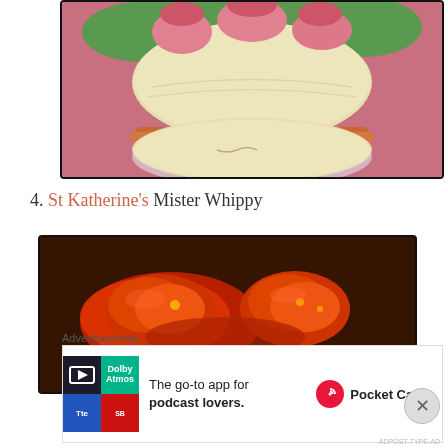[Figure (photo): Close-up photo of a French macaron being held, showing pale yellow/cream shells with caramel/orange filling, bordered with black frame]
4. St Katherine's Mister Whippy
[Figure (photo): Close-up photo of spicy red food (possibly stewed tomatoes or spicy seafood) in dark sauce on a dark background, bordered with black frame]
Advertisements
[Figure (other): Pocket Casts advertisement: 'The go-to app for podcast lovers.' with Pocket Casts logo and app icon]